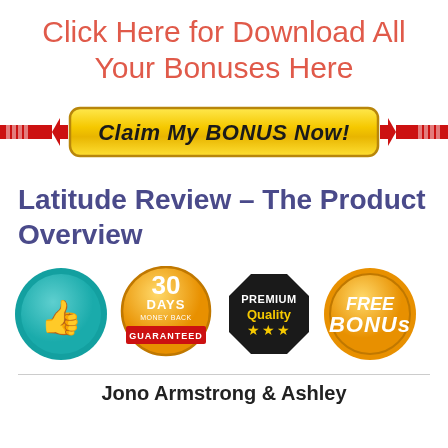Click Here for Download All Your Bonuses Here
[Figure (illustration): Yellow gradient button with text 'Claim My BONUS Now!' flanked by red horizontal bars with arrows pointing inward]
Latitude Review – The Product Overview
[Figure (illustration): Four badges: teal thumbs-up circle, orange '30 Days Money Back Guaranteed' circle with red ribbon, black octagon 'Premium Quality' with stars, orange 'FREE BONUS' scalloped circle]
Jono Armstrong & Ashley